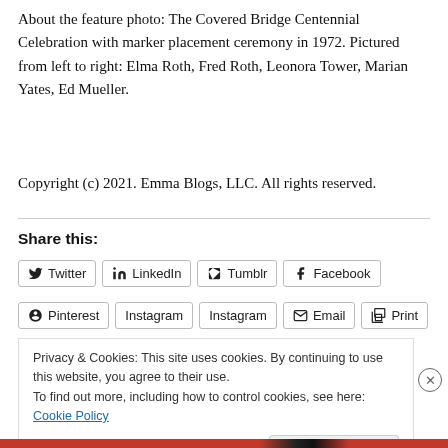About the feature photo: The Covered Bridge Centennial Celebration with marker placement ceremony in 1972. Pictured from left to right: Elma Roth, Fred Roth, Leonora Tower, Marian Yates, Ed Mueller.
Copyright (c) 2021. Emma Blogs, LLC. All rights reserved.
Share this:
Twitter LinkedIn Tumblr Facebook Pinterest Instagram Instagram Email Print
Privacy & Cookies: This site uses cookies. By continuing to use this website, you agree to their use.
To find out more, including how to control cookies, see here: Cookie Policy
Close and accept